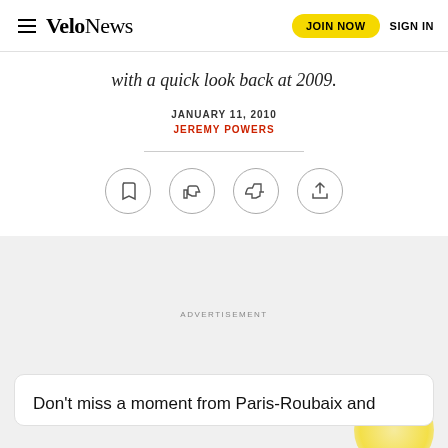VeloNews | JOIN NOW | SIGN IN
with a quick look back at 2009.
JANUARY 11, 2010
JEREMY POWERS
ADVERTISEMENT
Don't miss a moment from Paris-Roubaix and